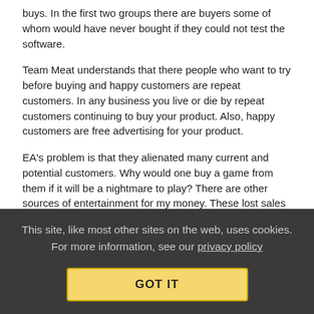buys. In the first two groups there are buyers some of whom would have never bought if they could not test the software.
Team Meat understands that there people who want to try before buying and happy customers are repeat customers. In any business you live or die by repeat customers continuing to buy your product. Also, happy customers are free advertising for your product.
EA's problem is that they alienated many current and potential customers. Why would one buy a game from them if it will be a nightmare to play? There are other sources of entertainment for my money. These lost sales are more damaging because they are harder to get back.
Collapse replies (2)  |  Reply  |  View in chronology
This site, like most other sites on the web, uses cookies. For more information, see our privacy policy  GOT IT